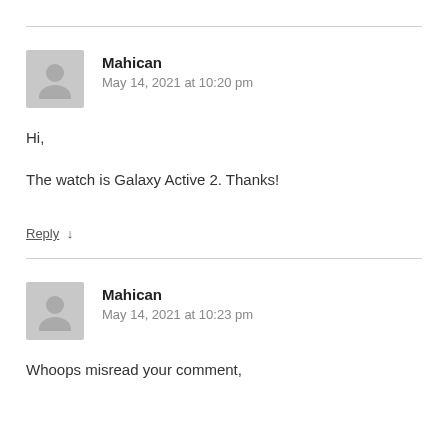Mahican
May 14, 2021 at 10:20 pm
Hi,
The watch is Galaxy Active 2. Thanks!
Reply ↓
Mahican
May 14, 2021 at 10:23 pm
Whoops misread your comment,